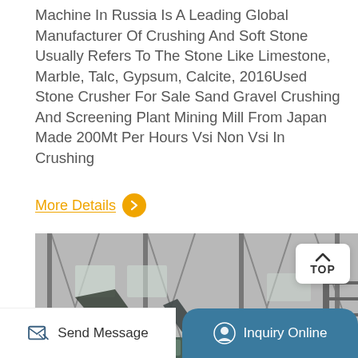Machine In Russia Is A Leading Global Manufacturer Of Crushing And Soft Stone Usually Refers To The Stone Like Limestone, Marble, Talc, Gypsum, Calcite, 2016Used Stone Crusher For Sale Sand Gravel Crushing And Screening Plant Mining Mill From Japan Made 200Mt Per Hours Vsi Non Vsi In Crushing
More Details >
[Figure (photo): Industrial factory floor with large mobile stone crushing and screening machinery, conveyor belts, and heavy equipment inside a warehouse with steel truss structure.]
Send Message
Inquiry Online